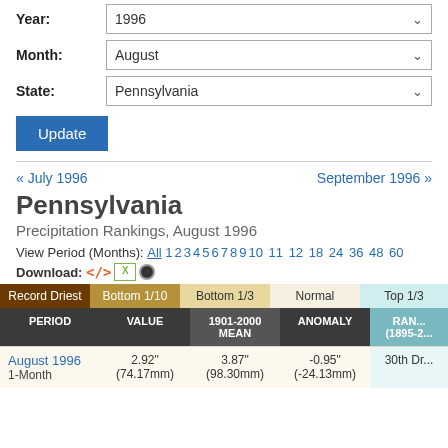Parameter: Precipitation
Year: 1996
Month: August
State: Pennsylvania
Update
« July 1996
September 1996 »
Pennsylvania
Precipitation Rankings, August 1996
View Period (Months): All 1 2 3 4 5 6 7 8 9 10 11 12 18 24 36 48 60
Download:
| PERIOD | VALUE | 1901-2000 MEAN | ANOMALY | RANK (1895-2...) |
| --- | --- | --- | --- | --- |
| August 1996
1-Month | 2.92"
(74.17mm) | 3.87"
(98.30mm) | -0.95"
(-24.13mm) | 30th Dr... |